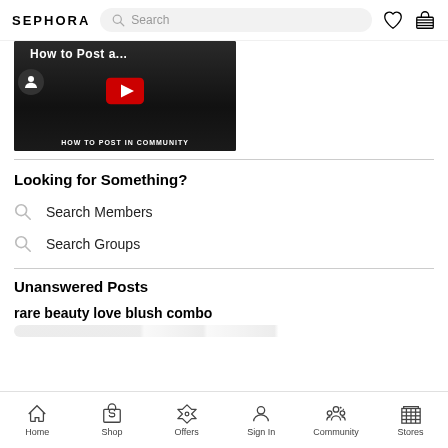SEPHORA
[Figure (screenshot): YouTube-style video thumbnail showing 'How to Post a...' with a play button and text 'HOW TO POST IN COMMUNITY']
Looking for Something?
Search Members
Search Groups
Unanswered Posts
rare beauty love blush combo
Home  Shop  Offers  Sign In  Community  Stores